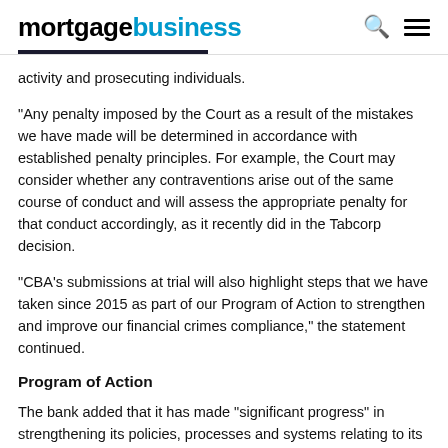mortgagebusiness
activity and prosecuting individuals.
“Any penalty imposed by the Court as a result of the mistakes we have made will be determined in accordance with established penalty principles. For example, the Court may consider whether any contraventions arise out of the same course of conduct and will assess the appropriate penalty for that conduct accordingly, as it recently did in the Tabcorp decision.
"CBA’s submissions at trial will also highlight steps that we have taken since 2015 as part of our Program of Action to strengthen and improve our financial crimes compliance," the statement continued.
Program of Action
The bank added that it has made “significant progress” in strengthening its policies, processes and systems relating to its obligations under the AML/CTF Act through